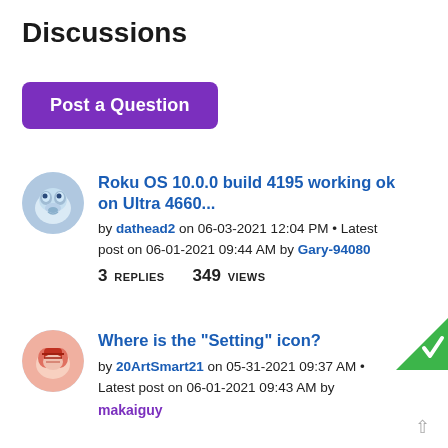Discussions
Post a Question
Roku OS 10.0.0 build 4195 working ok on Ultra 4660... by dathead2 on 06-03-2021 12:04 PM • Latest post on 06-01-2021 09:44 AM by Gary-94080 — 3 REPLIES 349 VIEWS
Where is the "Setting" icon? by 20ArtSmart21 on 05-31-2021 09:37 AM • Latest post on 06-01-2021 09:43 AM by makaiguy